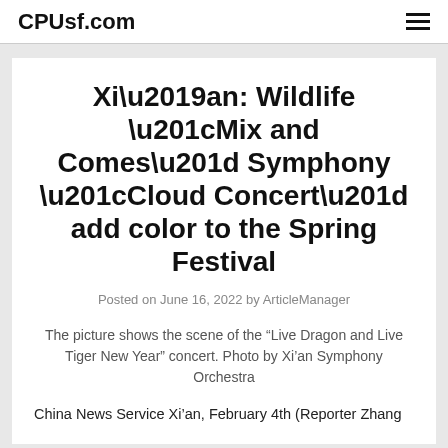CPUsf.com
Xi’an: Wildlife “Mix and Comes” Symphony “Cloud Concert” add color to the Spring Festival
Posted on June 16, 2022 by ArticleManager
The picture shows the scene of the “Live Dragon and Live Tiger New Year” concert. Photo by Xi’an Symphony Orchestra
China News Service Xi’an, February 4th (Reporter Zhang